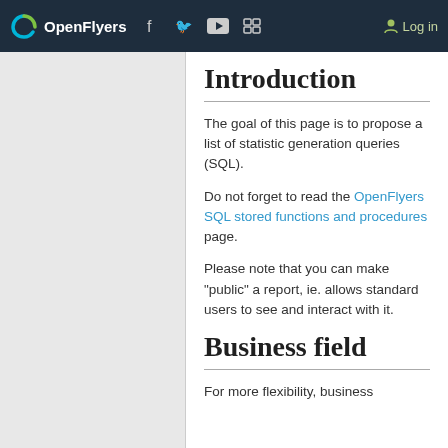OpenFlyers | Log in
Introduction
The goal of this page is to propose a list of statistic generation queries (SQL).
Do not forget to read the OpenFlyers SQL stored functions and procedures page.
Please note that you can make "public" a report, ie. allows standard users to see and interact with it.
Business field
For more flexibility, business